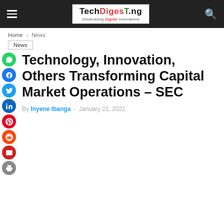TechDigesT.ng — Showcasing Digital Innovations
Home > News
News
Technology, Innovation, Others Transforming Capital Market Operations – SEC
By Inyene Ibanga - January 21, 2022